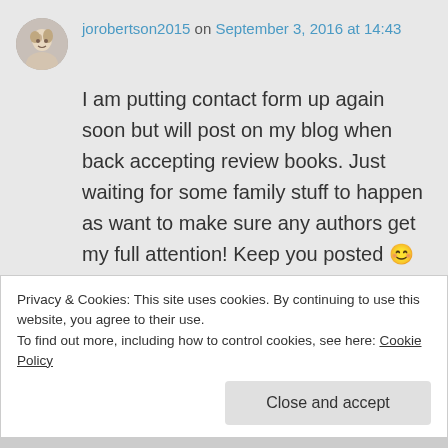jorobertson2015 on September 3, 2016 at 14:43
I am putting contact form up again soon but will post on my blog when back accepting review books. Just waiting for some family stuff to happen as want to make sure any authors get my full attention! Keep you posted 😊
★ Liked by 1 person
Privacy & Cookies: This site uses cookies. By continuing to use this website, you agree to their use.
To find out more, including how to control cookies, see here: Cookie Policy
Close and accept